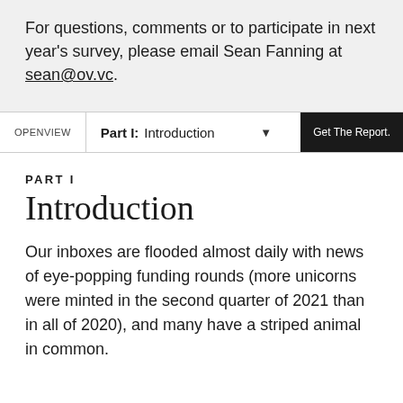For questions, comments or to participate in next year's survey, please email Sean Fanning at sean@ov.vc.
OPENVIEW  |  Part I: Introduction  ▼  Get The Report.
PART I
Introduction
Our inboxes are flooded almost daily with news of eye-popping funding rounds (more unicorns were minted in the second quarter of 2021 than in all of 2020), and many have a striped animal in common.